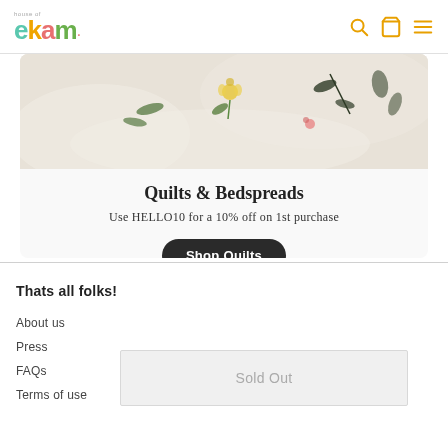house of ekam — navigation with search, cart, and menu icons
[Figure (photo): Close-up photo of a white floral embroidered quilt/bedspread fabric with botanical motifs including flowers and leaves]
Quilts & Bedspreads
Use HELLO10 for a 10% off on 1st purchase
Shop Quilts
Thats all folks!
About us
Press
FAQs
Terms of use
Sold Out